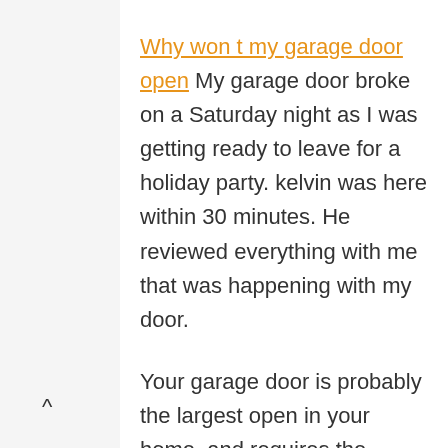Why won t my garage door open My garage door broke on a Saturday night as I was getting ready to leave for a holiday party. kelvin was here within 30 minutes. He reviewed everything with me that was happening with my door.
Your garage door is probably the largest open in your home, and requires the largest door in your home. The garage door works with many.
Seriously, how is it possible that there are so many different models of garage door opener and every single one of them has an awful keypad!? The buttons are so hard to press and it always takes at l.